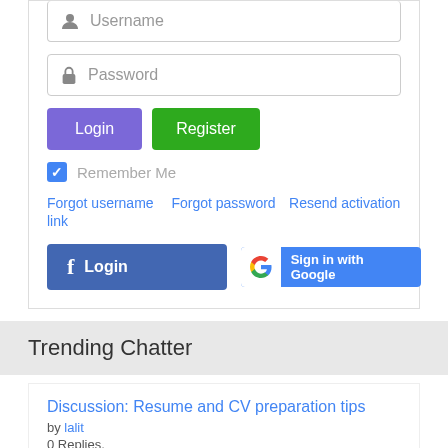[Figure (screenshot): Username input field with user icon]
[Figure (screenshot): Password input field with lock icon]
[Figure (screenshot): Login (purple) and Register (green) buttons]
[Figure (screenshot): Remember Me checkbox (checked, blue)]
Forgot username   Forgot password   Resend activation link
[Figure (screenshot): Facebook Login button and Google Sign in button]
Trending Chatter
Discussion: Resume and CV preparation tips
by lalit
0 Replies.